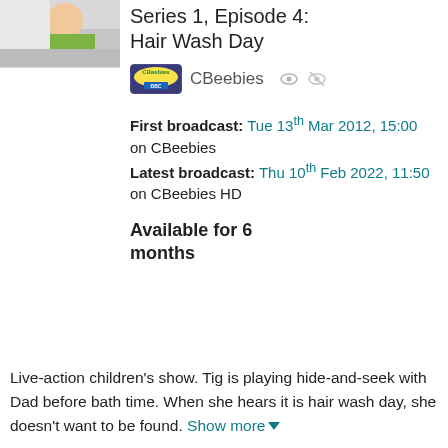[Figure (photo): Thumbnail image showing a child in green clothing, partially visible, cropped at top of page]
Series 1, Episode 4: Hair Wash Day
[Figure (logo): CBeebies BBC logo badge in yellow/green rounded rectangle]
CBeebies
First broadcast: Tue 13th Mar 2012, 15:00 on CBeebies
Latest broadcast: Thu 10th Feb 2022, 11:50 on CBeebies HD
Available for 6 months
Live-action children's show. Tig is playing hide-and-seek with Dad before bath time. When she hears it is hair wash day, she doesn't want to be found. Show more